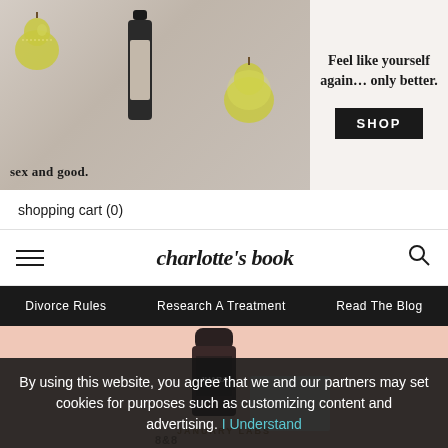[Figure (photo): Advertisement banner for 'sex and good.' brand showing product bottle and pear halves on marble surface, with tagline 'Feel like yourself again... only better.' and a SHOP button]
shopping cart (0)
charlotte's book
Divorce Rules   Research A Treatment   Read The Blog
[Figure (photo): Hero product image on pink background showing JUARA brand cosmetic product and January Labs branding]
By using this website, you agree that we and our partners may set cookies for purposes such as customizing content and advertising. I Understand